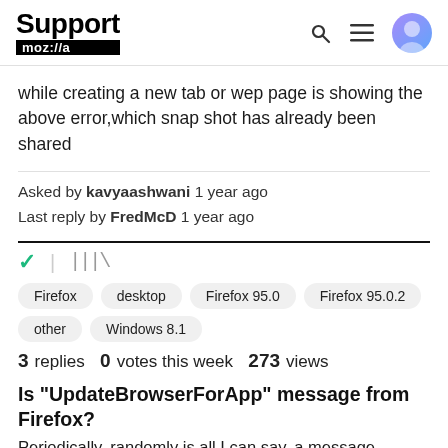Support moz://a
while creating a new tab or wep page is showing the above error,which snap shot has already been shared
Asked by kavyaashwani 1 year ago
Last reply by FredMcD 1 year ago
Firefox  desktop  Firefox 95.0  Firefox 95.0.2
other  Windows 8.1
3 replies  0 votes this week  273 views
Is "UpdateBrowserForApp" message from Firefox?
Periodically, randomly is all I can say, a message window